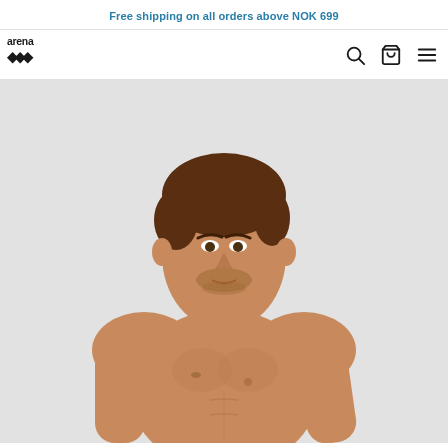Free shipping on all orders above NOK 699
[Figure (logo): Arena brand logo with diamond shapes]
[Figure (photo): Male model with brown hair, shirtless, athletic build, posed against a light grey background, showing upper body]